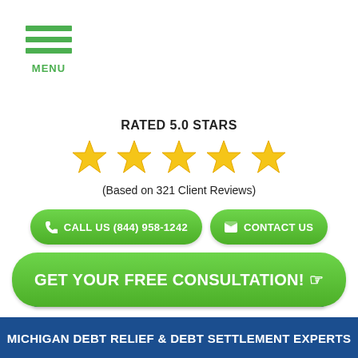[Figure (other): Hamburger menu icon with three green horizontal bars and MENU label]
RATED 5.0 STARS
[Figure (other): Five gold/yellow star rating icons]
(Based on 321 Client Reviews)
CALL US (844) 958-1242
CONTACT US
REDUCE YOUR DEBT BY UP TO 60%
GET YOUR FREE CONSULTATION!
MICHIGAN DEBT RELIEF & DEBT SETTLEMENT EXPERTS